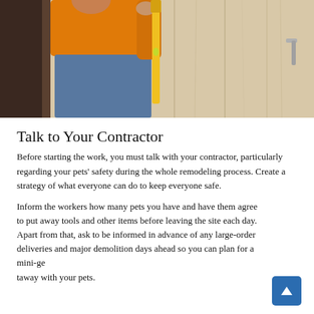[Figure (photo): A contractor or worker in an orange shirt and blue overalls using a yellow level tool on a wooden door or door frame installation. The background shows wood-grain panels and a dark doorway.]
Talk to Your Contractor
Before starting the work, you must talk with your contractor, particularly regarding your pets' safety during the whole remodeling process. Create a strategy of what everyone can do to keep everyone safe.
Inform the workers how many pets you have and have them agree to put away tools and other items before leaving the site each day. Apart from that, ask to be informed in advance of any large-order deliveries and major demolition days ahead so you can plan for a mini-getaway with your pets.